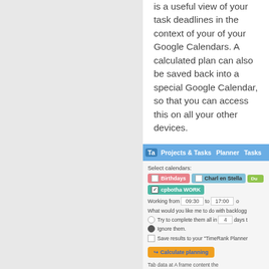is a useful view of your task deadlines in the context of your of your Google Calendars. A calculated plan can also be saved back into a special Google Calendar, so that you can access this on all your other devices.
[Figure (screenshot): Screenshot of a task planning web application showing a navigation bar with 'Projects & Tasks', 'Planner', 'Tasks' tabs, calendar selection buttons (Birthdays, Charl en Stella, Du..., cpbotha WORK), working hours input (09:30 to 17:00), backlog options (Try to complete them all in 4 days, Ignore them selected), a checkbox for saving to TimeRank Planner, and a Calculate planning button.]